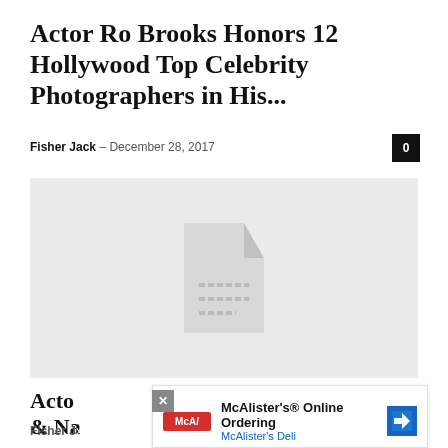Actor Ro Brooks Honors 12 Hollywood Top Celebrity Photographers in His...
Fisher Jack  –  December 28, 2017
[Figure (photo): Gray placeholder image with a document/file icon in the center]
Acto...vard & Na...
Fisher J...
[Figure (infographic): Advertisement overlay: McAlister's Online Ordering - McAlister's Deli, with logo, directional arrow icon, and close/dismiss controls]